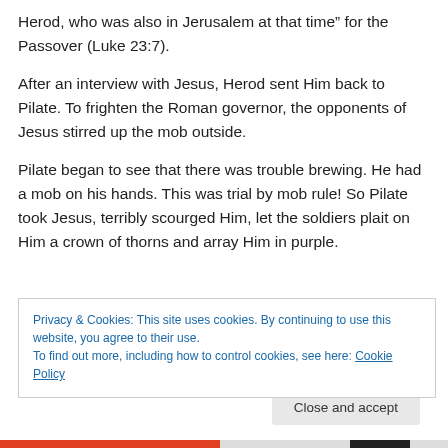Herod, who was also in Jerusalem at that time” for the Passover (Luke 23:7).
After an interview with Jesus, Herod sent Him back to Pilate. To frighten the Roman governor, the opponents of Jesus stirred up the mob outside.
Pilate began to see that there was trouble brewing. He had a mob on his hands. This was trial by mob rule! So Pilate took Jesus, terribly scourged Him, let the soldiers plait on Him a crown of thorns and array Him in purple.
Privacy & Cookies: This site uses cookies. By continuing to use this website, you agree to their use.
To find out more, including how to control cookies, see here: Cookie Policy
Close and accept